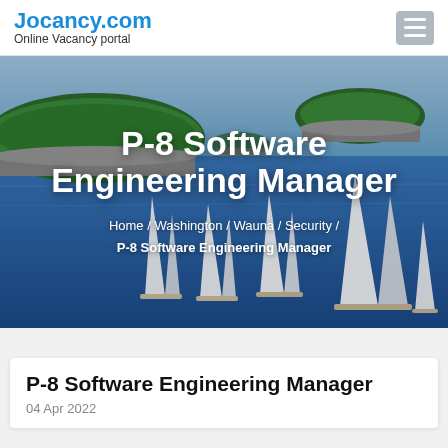Jocancy.com Online Vacancy portal
[Figure (photo): Hero banner with sailing boats on blue sea with green islands in background, overlaid with job title text]
P-8 Software Engineering Manager
Home / Washington / Wauna / Security / P-8 Software Engineering Manager
P-8 Software Engineering Manager
04 Apr 2022